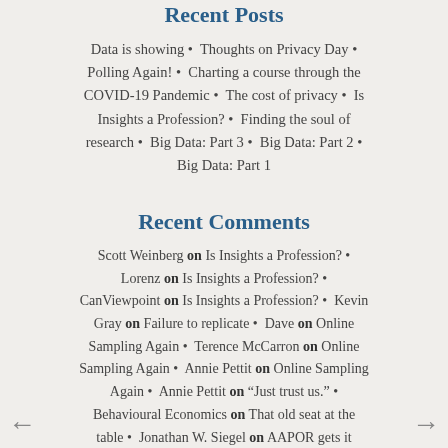Recent Posts
Data is showing • Thoughts on Privacy Day • Polling Again! • Charting a course through the COVID-19 Pandemic • The cost of privacy • Is Insights a Profession? • Finding the soul of research • Big Data: Part 3 • Big Data: Part 2 • Big Data: Part 1
Recent Comments
Scott Weinberg on Is Insights a Profession? • Lorenz on Is Insights a Profession? • CanViewpoint on Is Insights a Profession? • Kevin Gray on Failure to replicate • Dave on Online Sampling Again • Terence McCarron on Online Sampling Again • Annie Pettit on Online Sampling Again • Annie Pettit on "Just trust us." • Behavioural Economics on That old seat at the table • Jonathan W. Siegel on AAPOR gets it wrong